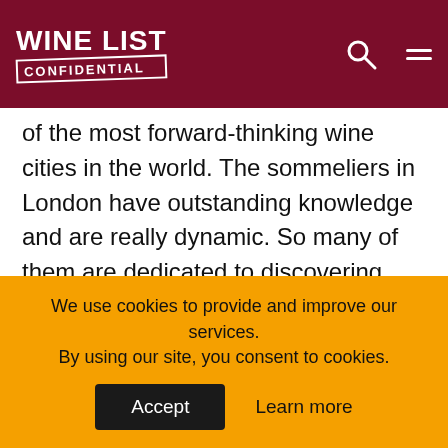WINE LIST CONFIDENTIAL
of the most forward-thinking wine cities in the world. The sommeliers in London have outstanding knowledge and are really dynamic. So many of them are dedicated to discovering new wine producing talent and are hungry for knowledge about the industry.
* Les 110 de Taillevent was ranked 10th in Wine List Confidential's best restaurants in
We use cookies to provide and improve our services. By using our site, you consent to cookies.